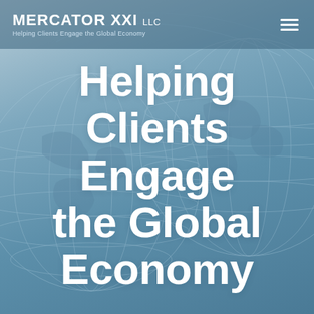[Figure (illustration): Globe world map illustration with grid lines on a steel-blue gradient background]
MERCATOR XXI LLC — Helping Clients Engage the Global Economy
Helping Clients Engage the Global Economy